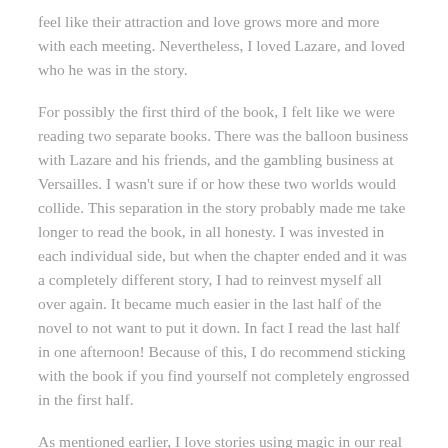feel like their attraction and love grows more and more with each meeting. Nevertheless, I loved Lazare, and loved who he was in the story.
For possibly the first third of the book, I felt like we were reading two separate books. There was the balloon business with Lazare and his friends, and the gambling business at Versailles. I wasn't sure if or how these two worlds would collide. This separation in the story probably made me take longer to read the book, in all honesty. I was invested in each individual side, but when the chapter ended and it was a completely different story, I had to reinvest myself all over again. It became much easier in the last half of the novel to not want to put it down. In fact I read the last half in one afternoon! Because of this, I do recommend sticking with the book if you find yourself not completely engrossed in the first half.
As mentioned earlier, I love stories using magic in our real